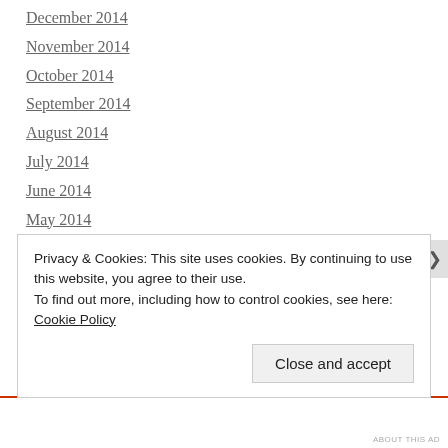December 2014
November 2014
October 2014
September 2014
August 2014
July 2014
June 2014
May 2014
April 2014
March 2014
February 2014
January 2014
December 2013
Privacy & Cookies: This site uses cookies. By continuing to use this website, you agree to their use.
To find out more, including how to control cookies, see here: Cookie Policy
Close and accept